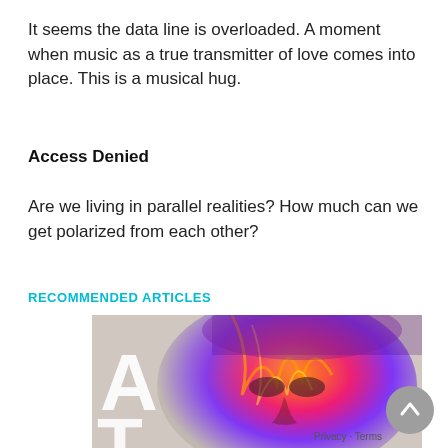It seems the data line is overloaded. A moment when music as a true transmitter of love comes into place. This is a musical hug.
Access Denied
Are we living in parallel realities? How much can we get polarized from each other?
RECOMMENDED ARTICLES
[Figure (photo): Colorful artistic portrait of a person with vivid red, orange, and purple tones overlaid on a face, with large white letters 'AI' and 'THA' visible on the left side of the image.]
Privacy · Terms